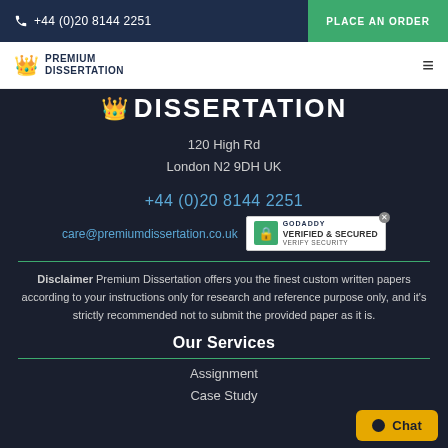+44 (0)20 8144 2251 | PLACE AN ORDER
[Figure (logo): Premium Dissertation logo with crown icon and hamburger menu]
DISSERTATION
120 High Rd
London N2 9DH UK
+44 (0)20 8144 2251
care@premiumdissertation.co.uk
[Figure (logo): GoDaddy Verified & Secured badge]
Disclaimer Premium Dissertation offers you the finest custom written papers according to your instructions only for research and reference purpose only, and it's strictly recommended not to submit the provided paper as it is.
Our Services
Assignment
Case Study